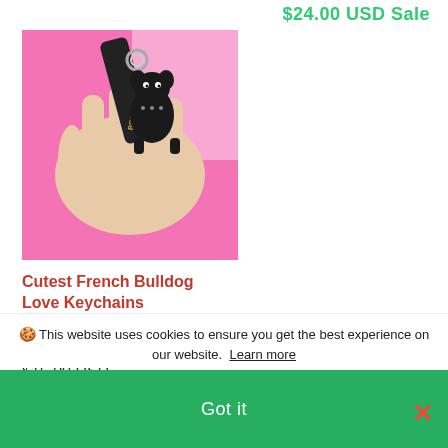$24.00 USD Sale
[Figure (photo): A hand holding a black French Bulldog keychain with a leather strap labeled BOOM, against a pink background]
Cutest French Bulldog Love Keychains
★★★★★ 3 reviews
$15.00 USD
🍪 This website uses cookies to ensure you get the best experience on our website. Learn more
Got it